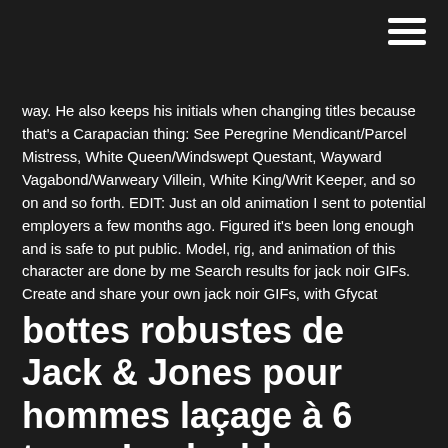way. He also keeps his initials when changing titles because that's a Carapacian thing: See Peregrine Mendicant/Parcel Mistress, White Queen/Windswept Questant, Wayward Vagabond/Warweary Villein, White King/Writ Keeper, and so on and so forth. EDIT: Just an old animation I sent to potential employers a few months ago. Figured it's been long enough and is safe to put public. Model, rig, and animation of this character are done by me Search results for jack noir GIFs. Create and share your own jack noir GIFs, with Gfycat
bottes robustes de Jack & Jones pour hommes laçage à 6 trous La doublure douce en nounours à